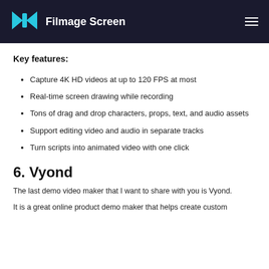Filmage Screen
Key features:
Capture 4K HD videos at up to 120 FPS at most
Real-time screen drawing while recording
Tons of drag and drop characters, props, text, and audio assets
Support editing video and audio in separate tracks
Turn scripts into animated video with one click
6. Vyond
The last demo video maker that I want to share with you is Vyond.
It is a great online product demo maker that helps create custom